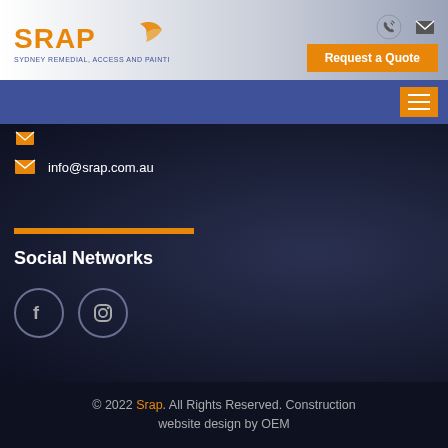[Figure (logo): SRAP - Sydney Remedial, Access and Painting logo with orange bird/wing graphic]
Request a Quote
info@srap.com.au
Social Networks
[Figure (illustration): Facebook and Instagram social network circle icon buttons]
© 2022 Srap. All Rights Reserved. Construction website design by OEM